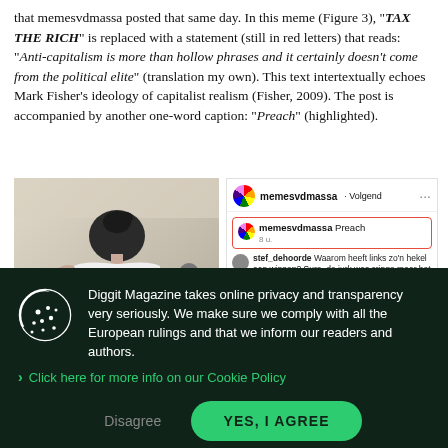that memesvdmassa posted that same day. In this meme (Figure 3), "TAX THE RICH" is replaced with a statement (still in red letters) that reads: "Anti-capitalism is more than hollow phrases and it certainly doesn't come from the political elite" (translation my own). This text intertextually echoes Mark Fisher's ideology of capitalist realism (Fisher, 2009). The post is accompanied by another one-word caption: "Preach" (highlighted).
[Figure (screenshot): Screenshot of an Instagram post by memesvdmassa showing a photo of a woman in a white off-shoulder dress with red text overlay reading 'antikapitalisme is meer dan holle frasen en komt zeker niet van de [political elite]', alongside Instagram comments including a highlighted comment by memesvdmassa saying 'Preach' and a reply by stef_dehoorde.]
Diggit Magazine takes online privacy and transparency very seriously. We make sure we comply with all the European rulings and that we inform our readers and authors.
Click here for more info on our Cookie Policy